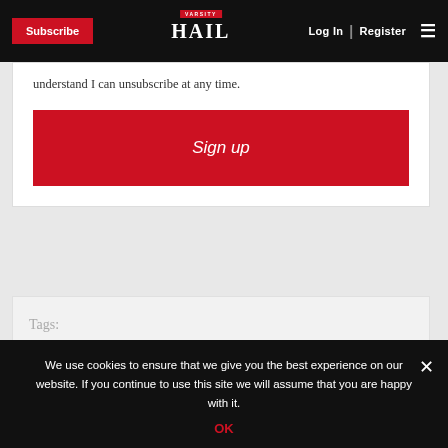Subscribe | HAIL VARSITY | Log In | Register
understand I can unsubscribe at any time.
Sign up
Tags:
We use cookies to ensure that we give you the best experience on our website. If you continue to use this site we will assume that you are happy with it.
OK